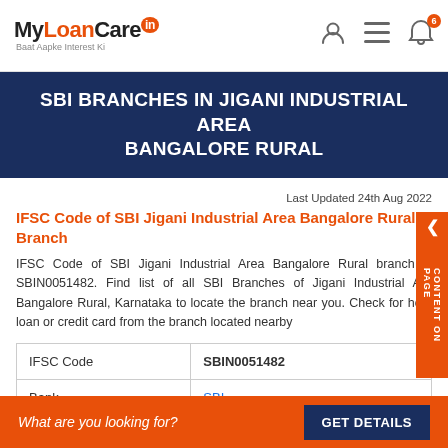MyLoanCare.in Baat Aapke Interest Ki
SBI BRANCHES IN JIGANI INDUSTRIAL AREA BANGALORE RURAL
Last Updated 24th Aug 2022
IFSC Code of SBI Jigani Industrial Area Bangalore Rural Branch
IFSC Code of SBI Jigani Industrial Area Bangalore Rural branch is SBIN0051482. Find list of all SBI Branches of Jigani Industrial Area Bangalore Rural, Karnataka to locate the branch near you. Check for home loan or credit card from the branch located nearby
|  |  |
| --- | --- |
| IFSC Code | SBIN0051482 |
| Bank | SBI |
| Branch | JIGANI INDUSTRIAL AREA BANGALORE RURAL |
What are you looking for? GET DETAILS